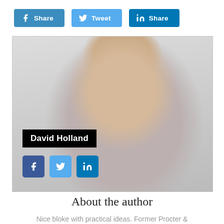[Figure (other): Three social share buttons in a row: Facebook Share (blue), Twitter Tweet (light blue), LinkedIn Share (dark blue)]
[Figure (photo): Photo of David Holland, a bald man in a blue checked shirt pointing upward with one finger, looking sideways with a smirk. Overlaid with black name label 'David Holland' and three small social media icon buttons (Facebook, Twitter, LinkedIn).]
About the author
Nice bloke with practical ideas. Former Procter &